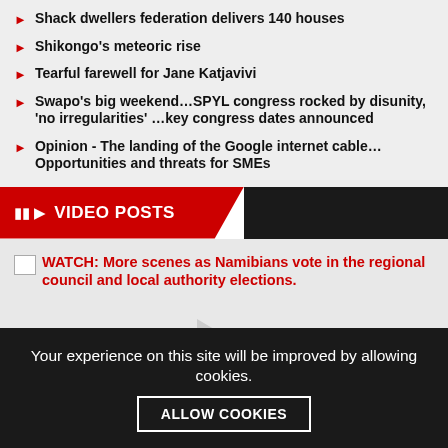Shack dwellers federation delivers 140 houses
Shikongo's meteoric rise
Tearful farewell for Jane Katjavivi
Swapo's big weekend…SPYL congress rocked by disunity, 'no irregularities' …key congress dates announced
Opinion - The landing of the Google internet cable…Opportunities and threats for SMEs
VIDEO POSTS
[Figure (screenshot): Video thumbnail placeholder with broken image icon and play button. Text: WATCH: More scenes as Namibians vote in the regional council and local authority elections.]
Your experience on this site will be improved by allowing cookies.
ALLOW COOKIES